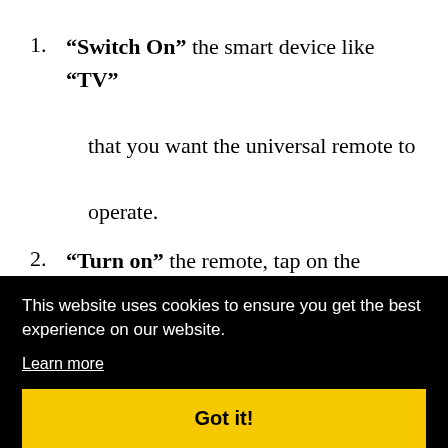"Switch On" the smart device like "TV" that you want the universal remote to operate.
"Turn on" the remote, tap on the device button (TV, DVD, CBL and OK/SEL) for
This website uses cookies to ensure you get the best experience on our website.
Learn more
Got it!